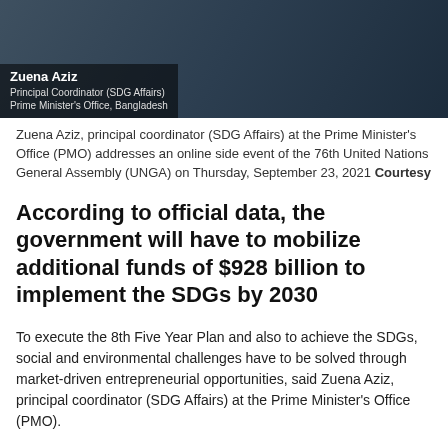[Figure (photo): Photo of Zuena Aziz, Principal Coordinator (SDG Affairs), Prime Minister's Office, Bangladesh, shown in a video call or online event setting]
Zuena Aziz, principal coordinator (SDG Affairs) at the Prime Minister's Office (PMO) addresses an online side event of the 76th United Nations General Assembly (UNGA) on Thursday, September 23, 2021 Courtesy
According to official data, the government will have to mobilize additional funds of $928 billion to implement the SDGs by 2030
To execute the 8th Five Year Plan and also to achieve the SDGs, social and environmental challenges have to be solved through market-driven entrepreneurial opportunities, said Zuena Aziz, principal coordinator (SDG Affairs) at the Prime Minister's Office (PMO).
Zuena made the observation during an online side event of the 76th United Nations General Assembly (UNGA) on Thursday, read a press release.